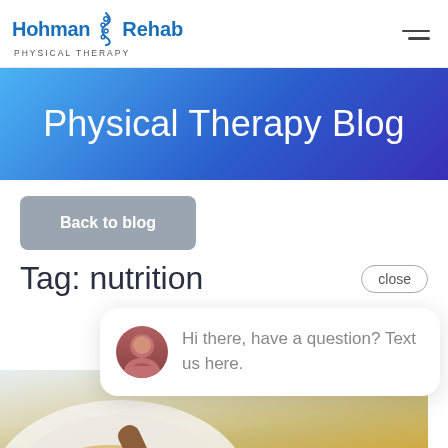Hohman Rehab Physical Therapy
Physical Therapy Blog
Back to blog
Tag: nutrition
close
Hi there, have a question? Text us here.
[Figure (photo): Photo of honey dipper and honeycomb on a white plate, with golden honey visible]